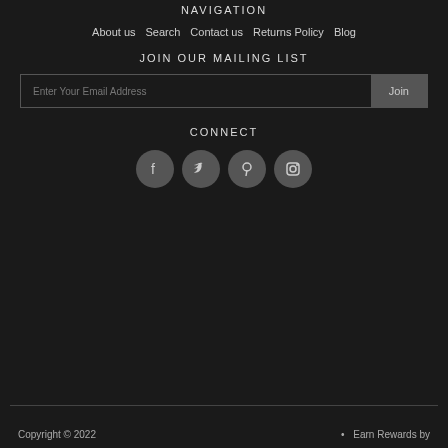NAVIGATION
About us
Search
Contact us
Returns Policy
Blog
JOIN OUR MAILING LIST
Enter Your Email Address
Join
CONNECT
[Figure (illustration): Four social media icons in circular dark grey buttons: Facebook, Twitter, Pinterest, Instagram]
Copyright © 2022  •  Earn Rewards by